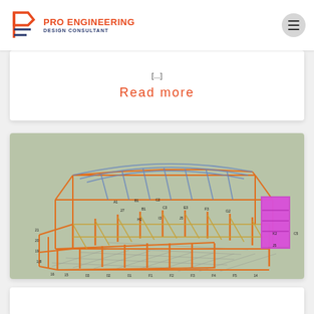[Figure (logo): Pro Engineering Design Consultant logo with stylized PE icon in blue/red and company name]
[...]
Read more
[Figure (engineering-diagram): 3D structural steel frame model of a large building showing orange/yellow steel members, columns, beams, and a pink/magenta stairwell tower on the right side, with numbered grid lines along the axes]